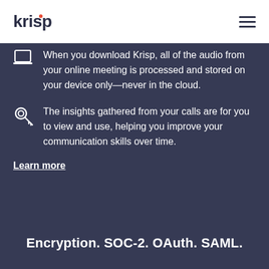krisp
When you download Krisp, all of the audio from your online meeting is processed and stored on your device only—never in the cloud.
The insights gathered from your calls are for you to view and use, helping you improve your communication skills over time.
Learn more
Encryption. SOC-2. OAuth. SAML.